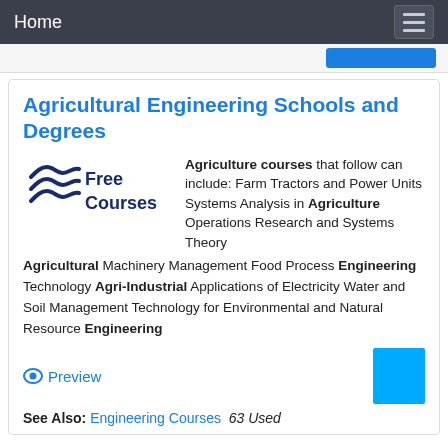Home
Agricultural Engineering Schools and Degrees
[Figure (logo): Free Courses logo with wave/chevron lines on left and text 'Free Courses' on right]
Agriculture courses that follow can include: Farm Tractors and Power Units Systems Analysis in Agriculture Operations Research and Systems Theory Agricultural Machinery Management Food Process Engineering Technology Agri-Industrial Applications of Electricity Water and Soil Management Technology for Environmental and Natural Resource Engineering
Preview
See Also: Engineering Courses 63 Used